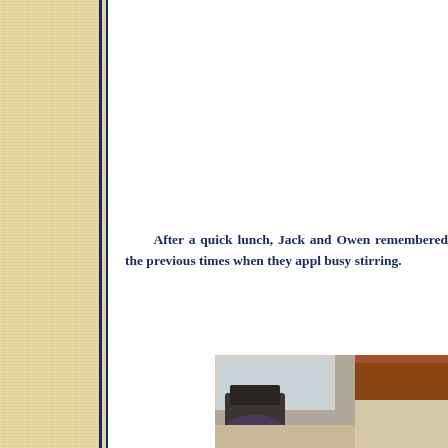[Figure (other): Left sidebar with linen/canvas texture in light tan/wheat color, with two vertical dark navy blue border lines on the right edge.]
After a quick lunch, Jack and Owen remembered the previous times when they appl busy stirring.
[Figure (photo): A photograph showing an interior scene with a chair and what appears to be a desk or table edge, taken near a window. Dark and moody lighting.]